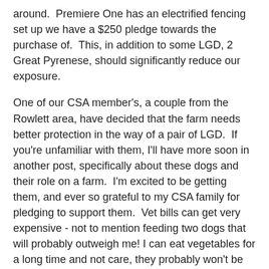around.  Premiere One has an electrified fencing set up we have a $250 pledge towards the purchase of.  This, in addition to some LGD, 2 Great Pyrenese, should significantly reduce our exposure.
One of our CSA member's, a couple from the Rowlett area, have decided that the farm needs better protection in the way of a pair of LGD.  If you're unfamiliar with them, I'll have more soon in another post, specifically about these dogs and their role on a farm.  I'm excited to be getting them, and ever so grateful to my CSA family for pledging to support them.  Vet bills can get very expensive - not to mention feeding two dogs that will probably outweigh me! I can eat vegetables for a long time and not care, they probably won't be as happy if that's all their diet consisted of.
So, it is with sadness I bid farewell to my buddy Snowball, the one red-eyed and one yellow-eyed, people friendly rooster, and with anticipation I await the arrival of 2 rescue GP dogs, to be described soon.
One season ends - and soon another will begin.  Turn, turn